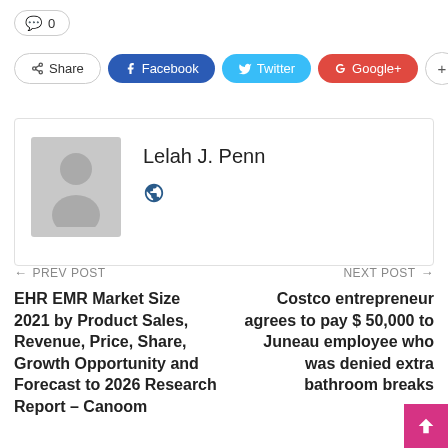💬 0
Share  Facebook  Twitter  Google+  +
Lelah J. Penn
[Figure (illustration): Grey placeholder avatar silhouette with head and shoulders]
← PREV POST
NEXT POST →
EHR EMR Market Size 2021 by Product Sales, Revenue, Price, Share, Growth Opportunity and Forecast to 2026 Research Report – Canoom
Costco entrepreneur agrees to pay $ 50,000 to Juneau employee who was denied extra bathroom breaks